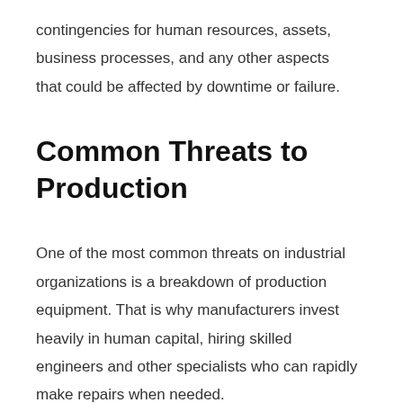contingencies for human resources, assets, business processes, and any other aspects that could be affected by downtime or failure.
Common Threats to Production
One of the most common threats on industrial organizations is a breakdown of production equipment. That is why manufacturers invest heavily in human capital, hiring skilled engineers and other specialists who can rapidly make repairs when needed.
However, manufacturers should be investing